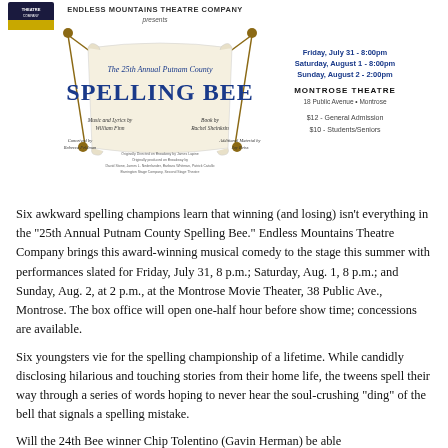[Figure (illustration): Promotional flyer for Endless Mountains Theatre Company presenting 'The 25th Annual Putnam County Spelling Bee'. Shows logo, banner with show title, performance dates (Friday July 31 8:00pm, Saturday August 1 8:00pm, Sunday August 2 2:00pm), venue (Montrose Theatre, 18 Public Avenue, Montrose), ticket prices ($12 General Admission, $10 Students/Seniors), credits including Music and Lyrics by William Finn, Book by Rachel Sheinkin, Conceived by Rebecca Feldman, Additional Material by Jay Reiss.]
Six awkward spelling champions learn that winning (and losing) isn't everything in the “25th Annual Putnam County Spelling Bee.” Endless Mountains Theatre Company brings this award-winning musical comedy to the stage this summer with performances slated for Friday, July 31, 8 p.m.; Saturday, Aug. 1, 8 p.m.; and Sunday, Aug. 2, at 2 p.m., at the Montrose Movie Theater, 38 Public Ave., Montrose. The box office will open one-half hour before show time; concessions are available.
Six youngsters vie for the spelling championship of a lifetime. While candidly disclosing hilarious and touching stories from their home life, the tweens spell their way through a series of words hoping to never hear the soul-crushing “ding” of the bell that signals a spelling mistake.
Will the 24th Bee winner Chip Tolentino (Gavin Herman) be able